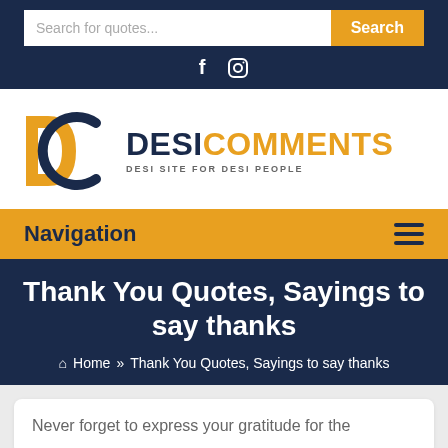Search for quotes... Search
[Figure (logo): DesiComments logo with DC monogram in gold and navy, text DESICOMMENTS DESI SITE FOR DESI PEOPLE]
Navigation
Thank You Quotes, Sayings to say thanks
Home » Thank You Quotes, Sayings to say thanks
Never forget to express your gratitude for the